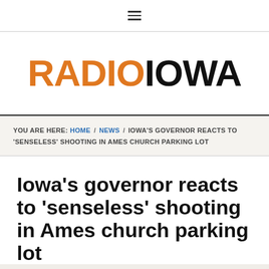≡
[Figure (logo): Radio Iowa logo with RADIO in orange and IOWA in black bold sans-serif text]
YOU ARE HERE: HOME / NEWS / IOWA'S GOVERNOR REACTS TO 'SENSELESS' SHOOTING IN AMES CHURCH PARKING LOT
Iowa's governor reacts to 'senseless' shooting in Ames church parking lot
JUNE 3, 2022 BY O. KAY HENDERSON